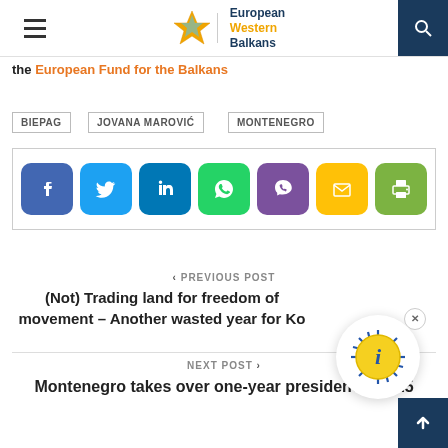European Western Balkans
the European Fund for the Balkans
BIEPAG
JOVANA MAROVIĆ
MONTENEGRO
[Figure (infographic): Social media share buttons: Facebook, Twitter, LinkedIn, WhatsApp, Viber, Email, Print]
< PREVIOUS POST
(Not) Trading land for freedom of movement – Another wasted year for Ko
NEXT POST >
Montenegro takes over one-year presidency of A5